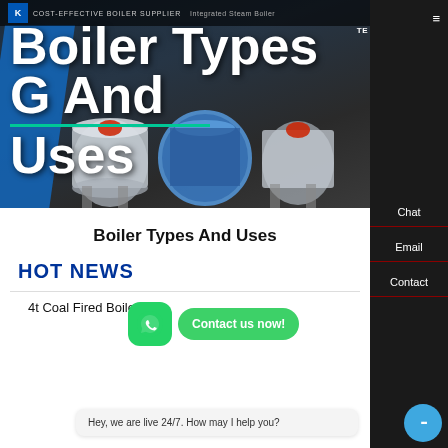COST-EFFECTIVE BOILER SUPPLIER | Integrated Steam Boiler
Boiler Types And Uses
[Figure (photo): Hero banner showing industrial steam boilers in a dark blue setting with the title 'Boiler Types And Uses' overlaid in large white bold text, with a teal underline accent.]
Boiler Types And Uses
HOT NEWS
4t Coal Fired Boile...
Hey, we are live 24/7. How may I help you?
Chat
Email
Contact
Contact us now!